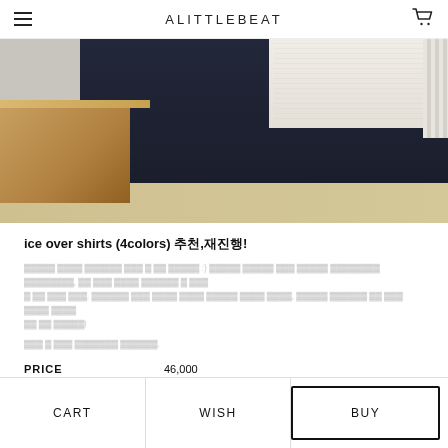ALITTLEBEAT
[Figure (photo): Product photo showing dark navy wide-leg pants worn with a white knit/crochet oversized shirt, with a wooden desk/table visible in the background and wood-tone flooring]
ice over shirts (4colors) 추천,재진행!
Korean description text (blurred/unreadable in original)
Korean note text (blurred/unreadable in original)
| PRICE |  |
| --- | --- |
| PRICE | 46,000 |
옵션 선택
CART   WISH   BUY